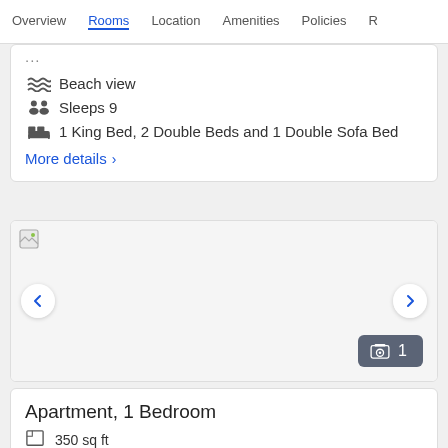Overview  Rooms  Location  Amenities  Policies  R
Beach view
Sleeps 9
1 King Bed, 2 Double Beds and 1 Double Sofa Bed
More details >
[Figure (photo): Hotel room photo carousel with broken image placeholder, navigation arrows left and right, and a photo count badge showing 1]
Apartment, 1 Bedroom
350 sq ft